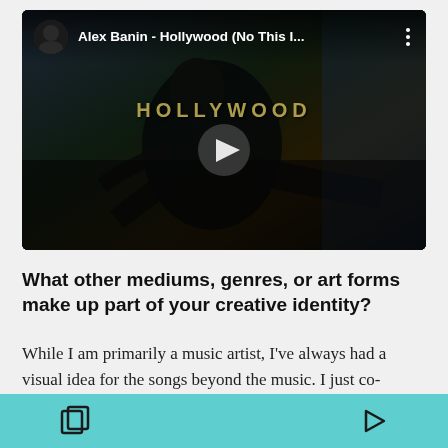[Figure (screenshot): YouTube video embed showing Alex Banin - Hollywood (No This I...) with a dark moody thumbnail featuring a person, HOLLYWOOD text overlay, and play button]
What other mediums, genres, or art forms make up part of your creative identity?
While I am primarily a music artist, I've always had a visual idea for the songs beyond the music. I just co-directed a music video for Hollywood with a friend...